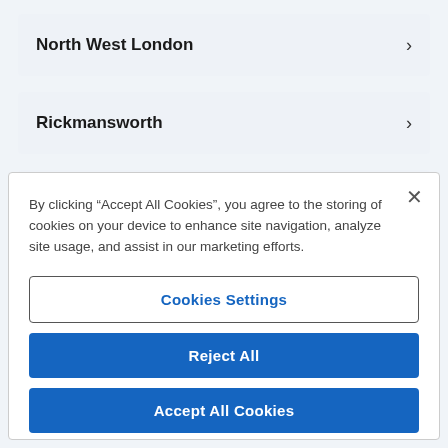North West London
Rickmansworth
By clicking “Accept All Cookies”, you agree to the storing of cookies on your device to enhance site navigation, analyze site usage, and assist in our marketing efforts.
Cookies Settings
Reject All
Accept All Cookies